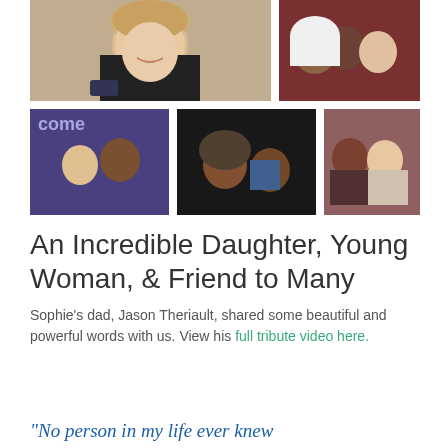[Figure (photo): Collage of six photos showing groups of young people smiling together in various social settings]
An Incredible Daughter, Young Woman, & Friend to Many
Sophie's dad, Jason Theriault, shared some beautiful and powerful words with us. View his full tribute video here.
“No person in my life ever knew